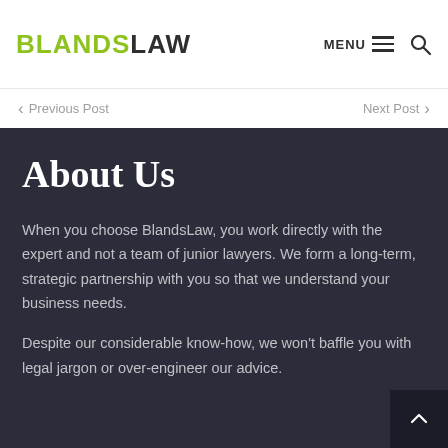BLANDSLAW | MENU | Search
Previous Post
Next Post
About Us
When you choose BlandsLaw, you work directly with the expert and not a team of junior lawyers. We form a long-term, strategic partnership with you so that we understand your business needs.
Despite our considerable know-how, we won't baffle you with legal jargon or over-engineer our advice.